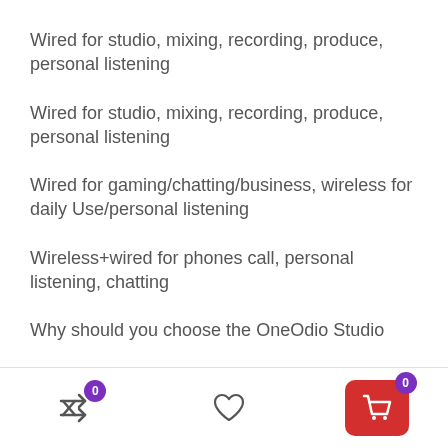Wired for studio, mixing, recording, produce, personal listening
Wired for studio, mixing, recording, produce, personal listening
Wired for gaming/chatting/business, wireless for daily Use/personal listening
Wireless+wired for phones call, personal listening, chatting
Why should you choose the OneOdio Studio
Navigation bar with shuffle icon (badge 0), heart/wishlist icon, and cart button (badge 0)